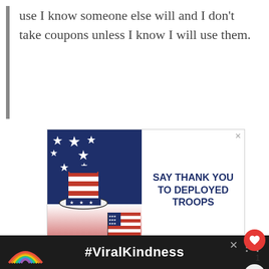use I know someone else will and I don't take coupons unless I know I will use them.
[Figure (illustration): Advertisement banner with patriotic theme showing Uncle Sam hat, American flag, and text 'SAY THANK YOU TO DEPLOYED TROOPS' on white and navy background with red brush strokes.]
We use cookies on our website to give you the most relevant experience by remembering your preferences and repeat visits. By clicking “Accept”, you consent to the use of all the cookies. However, you may visit "Cookie Settings" to provide a controlled consent.
WHAT'S NEXT → Product reviews for...
#ViralKindness